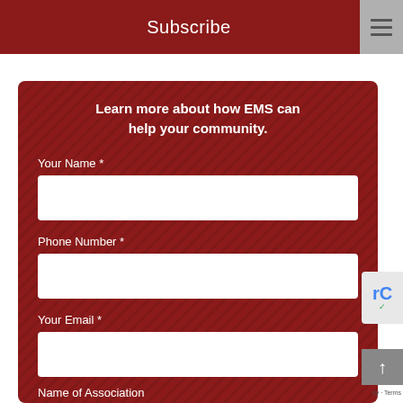Subscribe
Learn more about how EMS can help your community.
Your Name *
Phone Number *
Your Email *
Name of Association